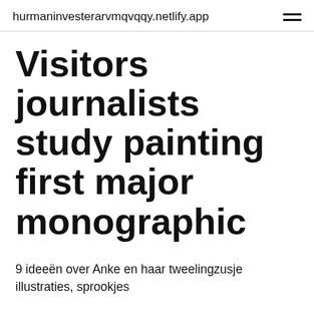hurmaninvesterarvmqvqqy.netlify.app
Visitors journalists study painting first major monographic
9 ideeën over Anke en haar tweelingzusje illustraties, sprookjes
Raising the Banner. P 71. Gely Korzhev / State Tretyakov Gallery. — Moscow, 2016. — 300 pp. : ill.